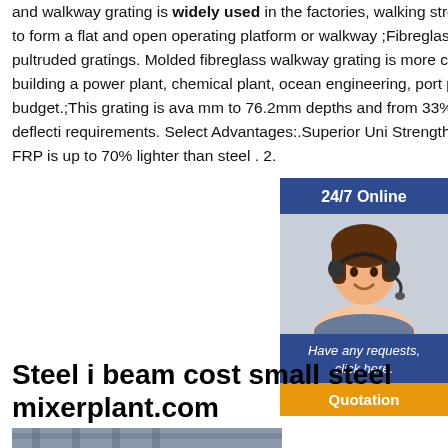and walkway grating is widely used in the factories, walking street, parking lot, port, warehouse and other places to form a flat and open operating platform or walkway ;Fibreglass walkway grating is available in molded and pultruded gratings. Molded fibreglass walkway grating is more common and more cost-effective. If you are building a power plant, chemical plant, ocean engineering, port project, Mach's will cover and stay within your budget.;This grating is available from 25.4 mm to 76.2mm depths and from 33% open to 6... depending upon your specific load and deflection requirements. Select Advantages:.Superior Uniaxial Strength.High Stiffness.Corrosion Resistant. When considering weight, FRP is up to 70% lighter than steel . 2.
[Figure (photo): Customer service representative wearing headset, with 24/7 Online banner, Have any requests click here text, and Quotation button on blue/orange sidebar]
Steel i beam cost small steel mixerplant.com
[Figure (photo): Bottom partial image showing steel beams or industrial equipment]